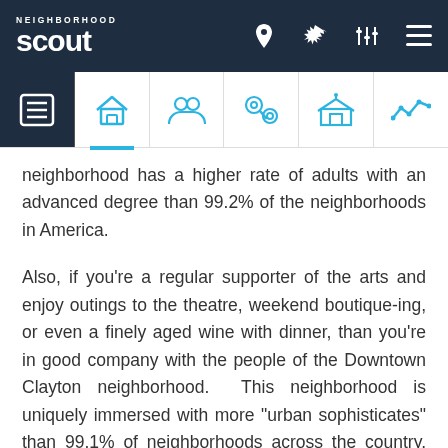Neighborhood Scout - navigation bar with logo and icons
[Figure (screenshot): Navigation tab bar with icons: list/overview (active, dark background), home, people/community, crime/location pin with chain, government/school building, and trend line chart icons]
neighborhood has a higher rate of adults with an advanced degree than 99.2% of the neighborhoods in America.
Also, if you're a regular supporter of the arts and enjoy outings to the theatre, weekend boutique-ing, or even a finely aged wine with dinner, than you're in good company with the people of the Downtown Clayton neighborhood. This neighborhood is uniquely immersed with more "urban sophisticates" than 99.1% of neighborhoods across the country. The